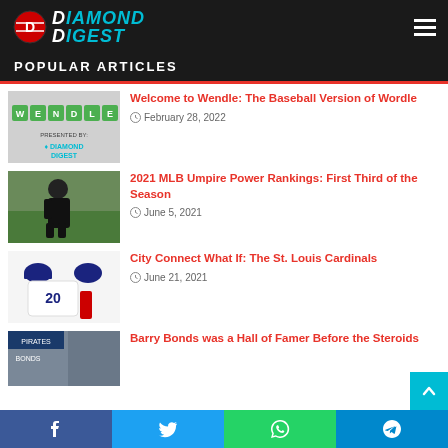Diamond Digest
POPULAR ARTICLES
[Figure (screenshot): Wendle game thumbnail - green tiles spelling WENDLE, Presented By Diamond Digest logo]
Welcome to Wendle: The Baseball Version of Wordle
February 28, 2022
[Figure (photo): MLB umpire in black uniform on baseball field]
2021 MLB Umpire Power Rankings: First Third of the Season
June 5, 2021
[Figure (illustration): St. Louis Cardinals City Connect baseball uniform design with number 20]
City Connect What If: The St. Louis Cardinals
June 21, 2021
[Figure (photo): Barry Bonds in baseball uniform, partial photo]
Barry Bonds was a Hall of Famer Before the Steroids